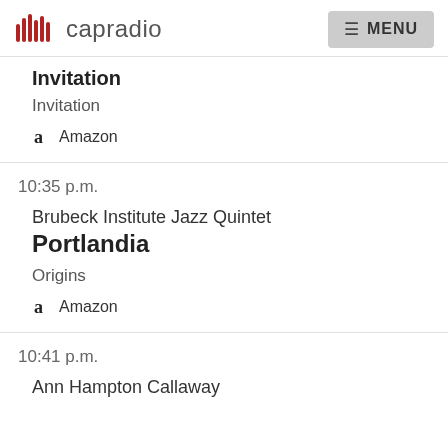capradio   MENU
Invitation
Invitation
Amazon
10:35 p.m.
Brubeck Institute Jazz Quintet
Portlandia
Origins
Amazon
10:41 p.m.
Ann Hampton Callaway